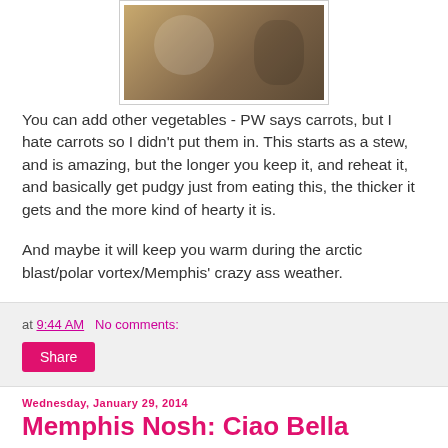[Figure (photo): Photo of sliced bread with dark spots (likely olives or chocolate chips), shown close-up on a plate.]
You can add other vegetables - PW says carrots, but I hate carrots so I didn't put them in. This starts as a stew, and is amazing, but the longer you keep it, and reheat it, and basically get pudgy just from eating this, the thicker it gets and the more kind of hearty it is.
And maybe it will keep you warm during the arctic blast/polar vortex/Memphis' crazy ass weather.
at 9:44 AM   No comments:
Share
Wednesday, January 29, 2014
Memphis Nosh: Ciao Bolla